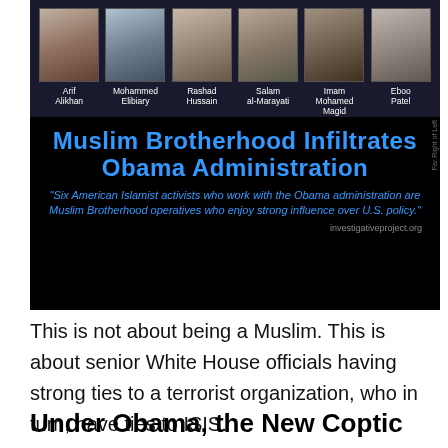[Figure (infographic): Infographic with photos of six individuals labeled Arif Alikhan, Mohammed Elibiary, Rashad Hussain, Salam al-Marayati, Imam Mohamed Magid, Eboo Patel above text reading 'Muslim Brotherhood Infiltrates Obama Administration' with a quote about six American Islamist activists. Source: investigativeproject.org]
This is not about being a Muslim. This is about senior White House officials having strong ties to a terrorist organization, who in turn, have ties to ISIS.
Under Obama, the New Coptic